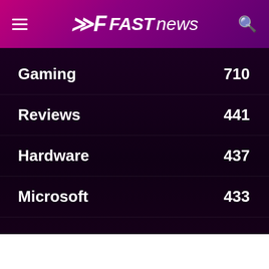FAST news
Gaming 710
Reviews 441
Hardware 437
Microsoft 433
Advertise with techAU